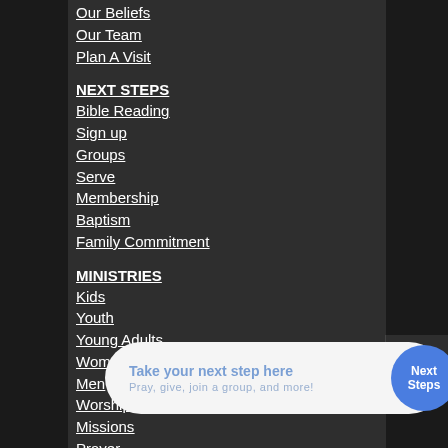Our Beliefs
Our Team
Plan A Visit
NEXT STEPS
Bible Reading
Sign up
Groups
Serve
Membership
Baptism
Family Commitment
MINISTRIES
Kids
Youth
Young Adults
Women
Men
Worship
Missions
Prayer
EVENTS
[Figure (infographic): CTA banner with text 'Take your next step here' and subtitle 'Pray, give, join a group, and more!' with a blue circle button labeled 'Next Steps']